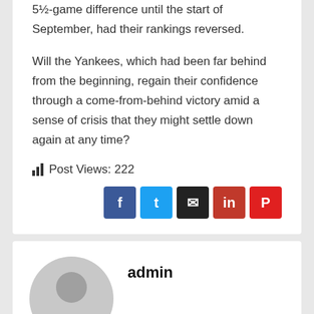5½-game difference until the start of September, had their rankings reversed.
Will the Yankees, which had been far behind from the beginning, regain their confidence through a come-from-behind victory amid a sense of crisis that they might settle down again at any time?
Post Views: 222
[Figure (infographic): Social share buttons: Facebook (blue), Twitter (light blue), Email (black), LinkedIn (red), Pinterest (red)]
admin